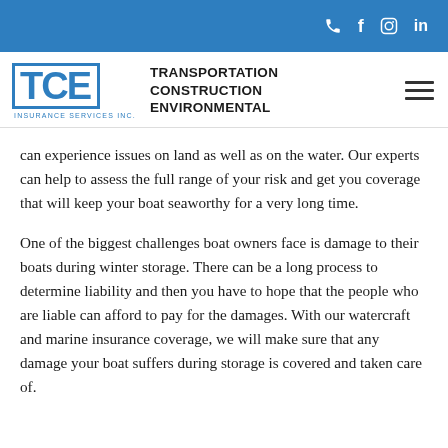TCE Insurance Services Inc. — Transportation Construction Environmental
can experience issues on land as well as on the water. Our experts can help to assess the full range of your risk and get you coverage that will keep your boat seaworthy for a very long time.
One of the biggest challenges boat owners face is damage to their boats during winter storage. There can be a long process to determine liability and then you have to hope that the people who are liable can afford to pay for the damages. With our watercraft and marine insurance coverage, we will make sure that any damage your boat suffers during storage is covered and taken care of.